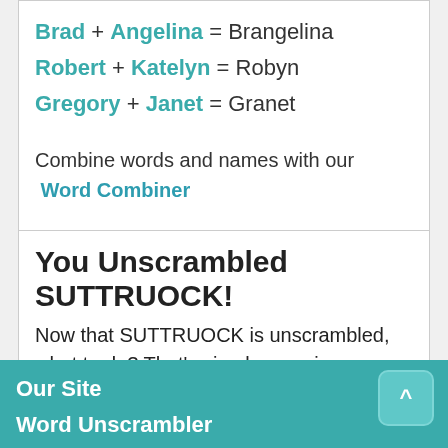Brad + Angelina = Brangelina
Robert + Katelyn = Robyn
Gregory + Janet = Granet
Combine words and names with our Word Combiner
You Unscrambled SUTTRUOCK!
Now that SUTTRUOCK is unscrambled, what to do? That's simple, go win your word game!
Our Site
Word Unscrambler